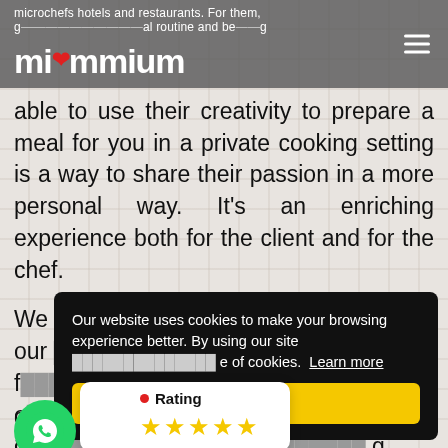mivmmium — navigation header
able to use their creativity to prepare a meal for you in a private cooking setting is a way to share their passion in a more personal way. It's an enriching experience both for the client and for the chef.
We [partially obscured] of our [partially obscured] f [partially obscured] s o [partially obscured] e c [partially obscured] g gourmet cuisine from Cestos prepared by a
Our website uses cookies to make your browsing experience better. By using our site [you accept the use] of cookies. Learn more
Yes
• Rating ★★★★★
gourmet cuisine from Cestos prepared by an